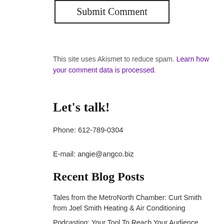[Figure (other): Submit Comment button — a rectangular button with black border and the text 'Submit Comment' in serif font]
This site uses Akismet to reduce spam. Learn how your comment data is processed.
Let's talk!
Phone: 612-789-0304
E-mail: angie@angco.biz
Recent Blog Posts
Tales from the MetroNorth Chamber: Curt Smith from Joel Smith Heating & Air Conditioning
Podcasting: Your Tool To Reach Your Audience